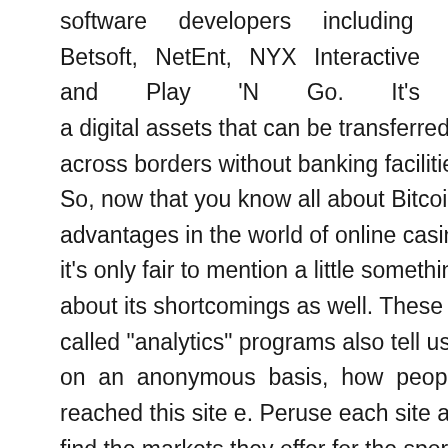software developers including Betsoft, NetEnt, NYX Interactive and Play 'N Go. It's a digital assets that can be transferred across borders without banking facilities. So, now that you know all about Bitcoin's advantages in the world of online casinos, it's only fair to mention a little something about its shortcomings as well. These so called “analytics” programs also tell us if , on an anonymous basis, how people reached this site e. Peruse each site and find the markets they offer for the sport you are betting on. GUNSBET casino gives a exclusive bonus of 200 free spins + 100% deposit bonus up to €100 to all new